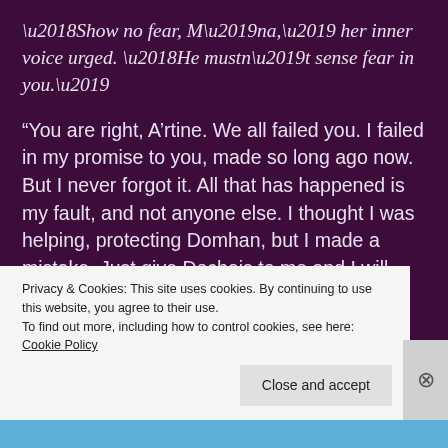'Show no fear, M'na,' her inner voice urged. 'He mustn't sense fear in you.'
“You are right, A’rtine. We all failed you. I failed in my promise to you, made so long ago now. But I never forgot it. All that has happened is my fault, and not anyone else. I thought I was helping, protecting Domhan, but I made a mistake. Just give Dochais to me and I will leave him with his Father. Then I
Privacy & Cookies: This site uses cookies. By continuing to use this website, you agree to their use.
To find out more, including how to control cookies, see here: Cookie Policy
Close and accept